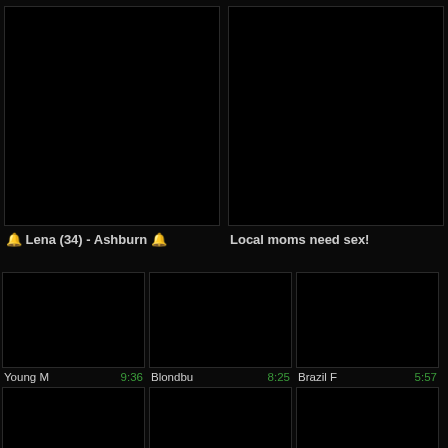[Figure (photo): Large black thumbnail image on left side]
🔔 Lena (34) - Ashburn 🔔
[Figure (photo): Large black thumbnail image on right side]
Local moms need sex!
[Figure (photo): Small black thumbnail image, title: Young M, duration: 9:36]
[Figure (photo): Small black thumbnail image, title: Blondbu, duration: 8:25]
[Figure (photo): Small black thumbnail image, title: Brazil F, duration: 5:57]
[Figure (photo): Small black thumbnail image, bottom row left]
[Figure (photo): Small black thumbnail image, bottom row center]
[Figure (photo): Small black thumbnail image, bottom row right]